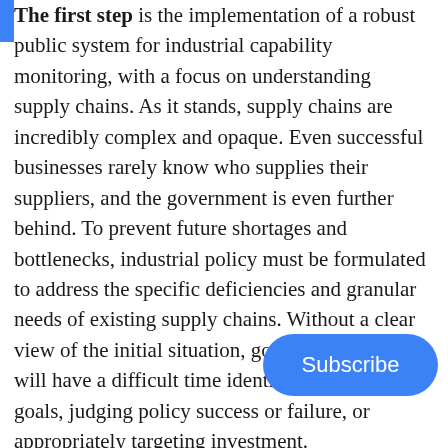The first step is the implementation of a robust public system for industrial capability monitoring, with a focus on understanding supply chains. As it stands, supply chains are incredibly complex and opaque. Even successful businesses rarely know who supplies their suppliers, and the government is even further behind. To prevent future shortages and bottlenecks, industrial policy must be formulated to address the specific deficiencies and granular needs of existing supply chains. Without a clear view of the initial situation, government agencies will have a difficult time identifying policy goals, judging policy success or failure, or appropriately targeting investment.
The next step: the specification of clear... deceptively simple. Since the role of sc... to push forward the frontier of research, goal setting is often left to industry and... and industrial...